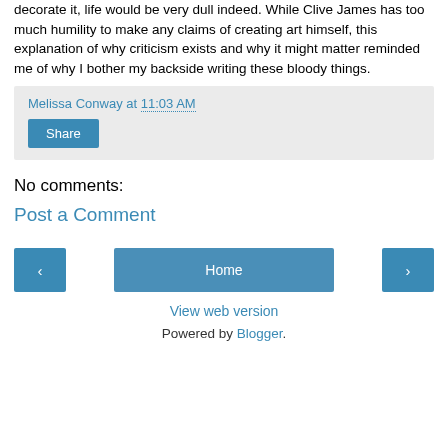decorate it, life would be very dull indeed. While Clive James has too much humility to make any claims of creating art himself, this explanation of why criticism exists and why it might matter reminded me of why I bother my backside writing these bloody things.
Melissa Conway at 11:03 AM
Share
No comments:
Post a Comment
‹
Home
›
View web version
Powered by Blogger.